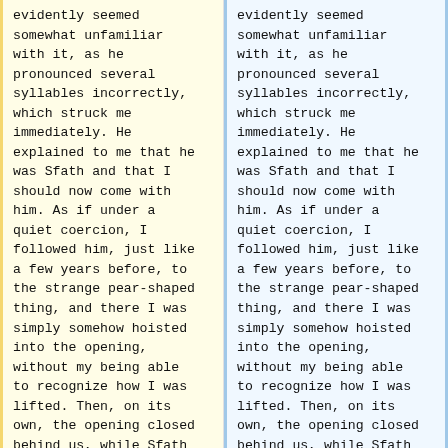evidently seemed somewhat unfamiliar with it, as he pronounced several syllables incorrectly, which struck me immediately. He explained to me that he was Sfath and that I should now come with him. As if under a quiet coercion, I followed him, just like a few years before, to the strange pear-shaped thing, and there I was simply somehow hoisted into the opening, without my being able to recognize how I was lifted. Then, on its own, the opening closed behind us, while Sfath led me through another opening in the interior
evidently seemed somewhat unfamiliar with it, as he pronounced several syllables incorrectly, which struck me immediately. He explained to me that he was Sfath and that I should now come with him. As if under a quiet coercion, I followed him, just like a few years before, to the strange pear-shaped thing, and there I was simply somehow hoisted into the opening, without my being able to recognize how I was lifted. Then, on its own, the opening closed behind us, while Sfath led me through another opening in the interior